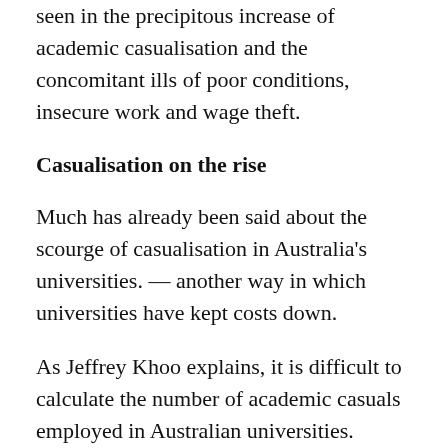seen in the precipitous increase of academic casualisation and the concomitant ills of poor conditions, insecure work and wage theft.
Casualisation on the rise
Much has already been said about the scourge of casualisation in Australia's universities. — another way in which universities have kept costs down.
As Jeffrey Khoo explains, it is difficult to calculate the number of academic casuals employed in Australian universities. However, it is generally estimated that between 50% and 70% of academic university staff are casual employees.
Casuals are easily exploited: universities do not